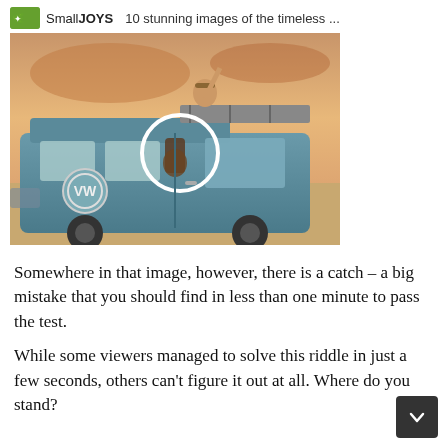SmallJOYS   10 stunning images of the timeless ...
[Figure (photo): A vintage VW van/bus with a person sitting on top or leaning out, with a white circle highlighting something on or near the van. Desert/beach background with warm sky. The image appears to be from a 'spot the mistake' puzzle.]
Somewhere in that image, however, there is a catch – a big mistake that you should find in less than one minute to pass the test.
While some viewers managed to solve this riddle in just a few seconds, others can't figure it out at all. Where do you stand?